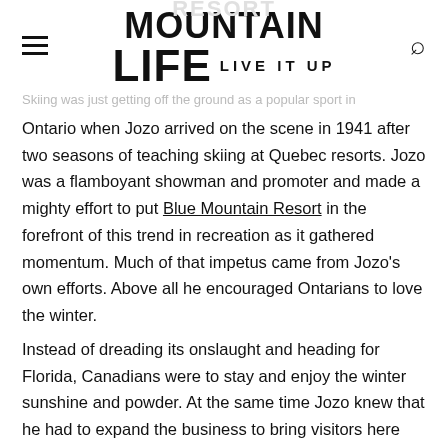MOUNTAIN LIFE — LIVE IT UP
Skiing was just getting off the ground as a popular sport in
Ontario when Jozo arrived on the scene in 1941 after two seasons of teaching skiing at Quebec resorts. Jozo was a flamboyant showman and promoter and made a mighty effort to put Blue Mountain Resort in the forefront of this trend in recreation as it gathered momentum. Much of that impetus came from Jozo's own efforts. Above all he encouraged Ontarians to love the winter.
Instead of dreading its onslaught and heading for Florida, Canadians were to stay and enjoy the winter sunshine and powder. At the same time Jozo knew that he had to expand the business to bring visitors here after the short ski season